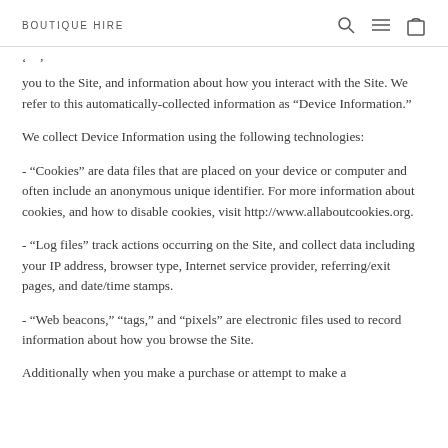BOUTIQUE HIRE
you to the Site, and information about how you interact with the Site. We refer to this automatically-collected information as “Device Information.”
We collect Device Information using the following technologies:
- “Cookies” are data files that are placed on your device or computer and often include an anonymous unique identifier. For more information about cookies, and how to disable cookies, visit http://www.allaboutcookies.org.
- “Log files” track actions occurring on the Site, and collect data including your IP address, browser type, Internet service provider, referring/exit pages, and date/time stamps.
- “Web beacons,” “tags,” and “pixels” are electronic files used to record information about how you browse the Site.
Additionally when you make a purchase or attempt to make a